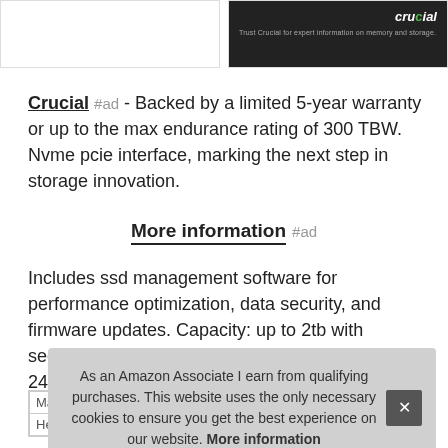[Figure (screenshot): Two side-by-side product image boxes: left is empty white box, right is dark banner with Crucial logo and small text]
Crucial #ad - Backed by a limited 5-year warranty or up to the max endurance rating of 300 TBW. Nvme pcie interface, marking the next step in storage innovation.
More information #ad
Includes ssd management software for performance optimization, data security, and firmware updates. Capacity: up to 2tb with sequential reads or writes up to 2400MB/s/1900MB/s.
As an Amazon Associate I earn from qualifying purchases. This website uses the only necessary cookies to ensure you get the best experience on our website. More information
| Ma |  |
| Height | 0.88 inches |